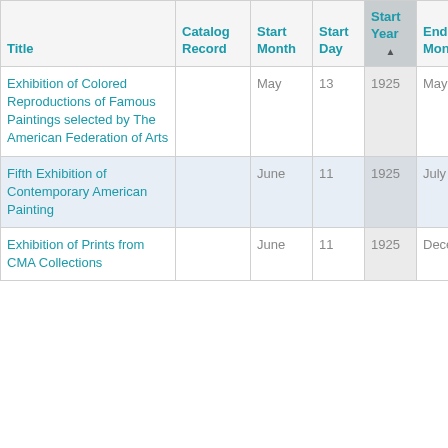| Title | Catalog Record | Start Month | Start Day | Start Year | End Month | E D |
| --- | --- | --- | --- | --- | --- | --- |
| Exhibition of Colored Reproductions of Famous Paintings selected by The American Federation of Arts |  | May | 13 | 1925 | May |  |
| Fifth Exhibition of Contemporary American Painting |  | June | 11 | 1925 | July |  |
| Exhibition of Prints from CMA Collections |  | June | 11 | 1925 | December |  |